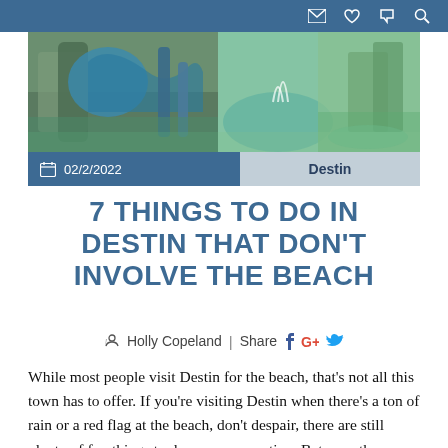✉ ♥ ✆ 🔍
[Figure (photo): Water park with blue water slides, fountains, and tropical scenery in Destin area]
📅  02/2/2022   Destin
7 THINGS TO DO IN DESTIN THAT DON'T INVOLVE THE BEACH
✎ Holly Copeland | Share  f  G+  🐦
While most people visit Destin for the beach, that's not all this town has to offer. If you're visiting Destin when there's a ton of rain or a red flag at the beach, don't despair, there are still plenty of fun things to do on your vacation. Between the attractions, shops, restaurants, and more, there are tons of fun things